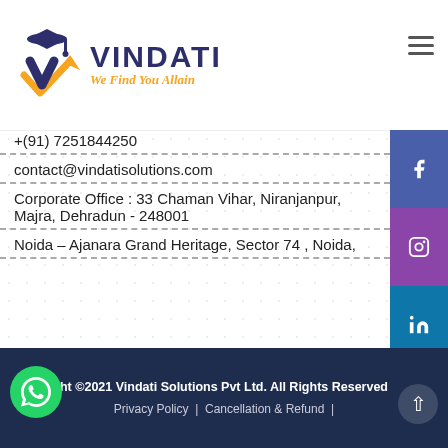[Figure (logo): Vindati logo with graduation cap and checkmark, text 'VINDATI' and tagline 'We Find You Allain']
+(91) 7251844250
contact@vindatisolutions.com
Corporate Office : 33 Chaman Vihar, Niranjanpur, Majra, Dehradun - 248001
Noida – Ajanara Grand Heritage, Sector 74 , Noida,
Copyright ©2021 Vindati Solutions Pvt Ltd. All Rights Reserved | Privacy Policy | Cancellation & Refund |